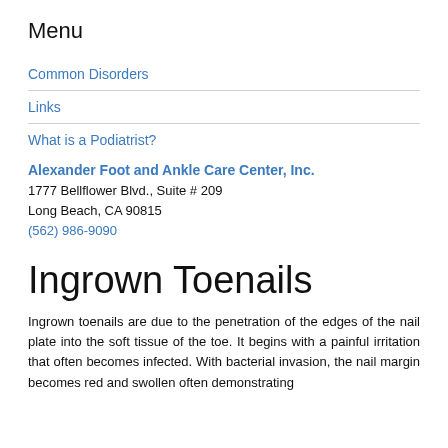Menu
Common Disorders
Links
What is a Podiatrist?
Alexander Foot and Ankle Care Center, Inc.
1777 Bellflower Blvd., Suite # 209
Long Beach, CA 90815
(562) 986-9090
Ingrown Toenails
Ingrown toenails are due to the penetration of the edges of the nail plate into the soft tissue of the toe. It begins with a painful irritation that often becomes infected. With bacterial invasion, the nail margin becomes red and swollen often demonstrating